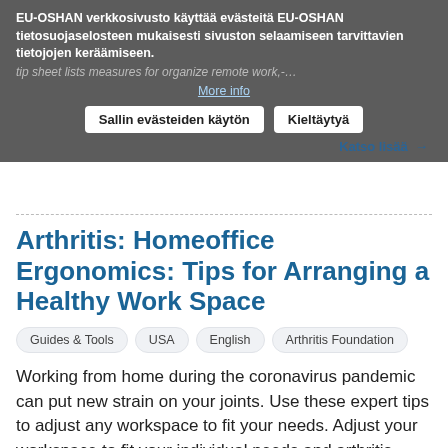EU-OSHAN verkkosivusto käyttää evästeitä EU-OSHAN tietosuojaselosteen mukaisesti sivuston selaamiseen tarvittavien tietojen keräämiseen.
tip sheet lists measures for organize remote work,-...
More info
Sallin evästeiden käytön | Kieltäytyä
Katso lisää →
Arthritis: Homeoffice Ergonomics: Tips for Arranging a Healthy Work Space
Guides & Tools
USA
English
Arthritis Foundation
Working from home during the coronavirus pandemic can put new strain on your joints. Use these expert tips to adjust any workspace to fit your needs. Adjust your workspace to fit your individual needs and arthritis-related limitations. These corrections – many of which can be done while working from...